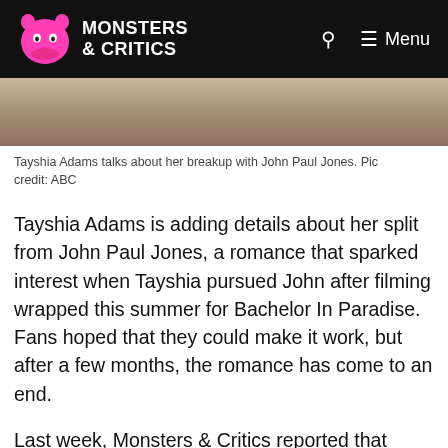Monsters & Critics — Menu
[Figure (photo): Partial photo of Tayshia Adams, cropped at top, showing her from shoulders up against a light background.]
Tayshia Adams talks about her breakup with John Paul Jones. Pic credit: ABC
Tayshia Adams is adding details about her split from John Paul Jones, a romance that sparked interest when Tayshia pursued John after filming wrapped this summer for Bachelor In Paradise. Fans hoped that they could make it work, but after a few months, the romance has come to an end.
Last week, Monsters & Critics reported that Tayshia Adams shared a post where she